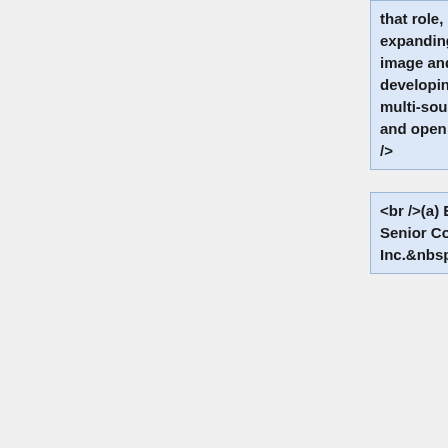that role, he is responsible for expanding Black Duck's reach, image and product breadth by developing partnerships in the multi-source development, legal and open source ecosystem.<br />
<br />(a) Esteban Rockett is a Senior Counsel at Motorola, Inc.&nbsp;&nbsp;He is